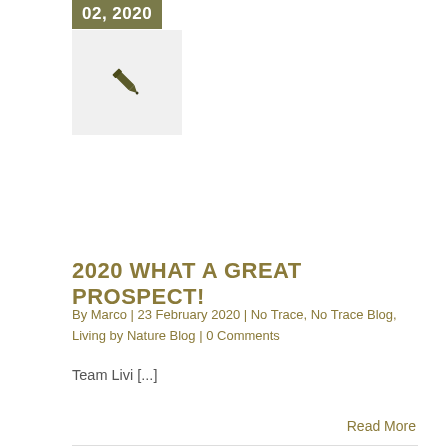02, 2020
[Figure (illustration): Pen/quill icon on light gray background]
2020 WHAT A GREAT PROSPECT!
By Marco | 23 February 2020 | No Trace, No Trace Blog, Living by Nature Blog | 0 Comments
Team Livi [...]
Read More